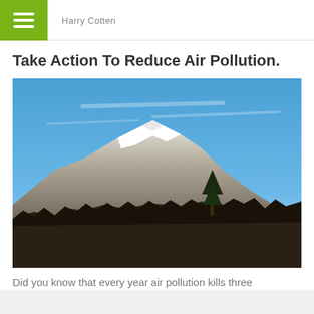Harry Cotten
Take Action To Reduce Air Pollution.
[Figure (photo): Outdoor photograph of a snow-capped mountain with dense evergreen forest at its base against a clear blue sky.]
Did you know that every year air pollution kills three